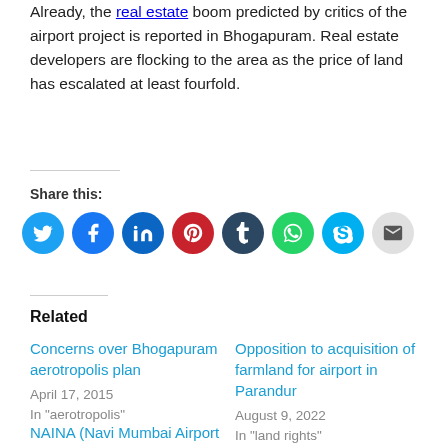Already, the real estate boom predicted by critics of the airport project is reported in Bhogapuram. Real estate developers are flocking to the area as the price of land has escalated at least fourfold.
Share this:
[Figure (infographic): Row of social media share icons: Twitter (blue), Facebook (dark blue), LinkedIn (blue), Pinterest (red), Tumblr (dark navy), WhatsApp (green), Skype (light blue), Email (gray)]
Related
Concerns over Bhogapuram aerotropolis plan
April 17, 2015
In "aerotropolis"
Opposition to acquisition of farmland for airport in Parandur
August 9, 2022
In "land rights"
NAINA (Navi Mumbai Airport Influence Notified